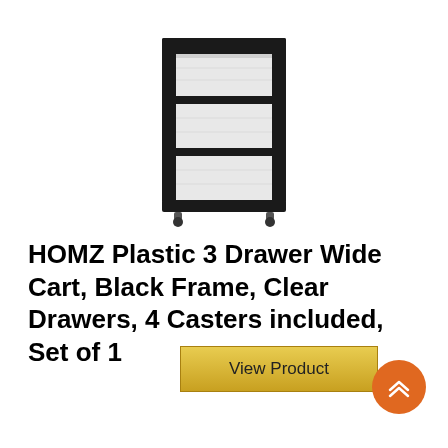[Figure (photo): Product photo of a HOMZ Plastic 3 Drawer Wide Cart with black frame and clear drawers, shown at a slight angle]
HOMZ Plastic 3 Drawer Wide Cart, Black Frame, Clear Drawers, 4 Casters included, Set of 1